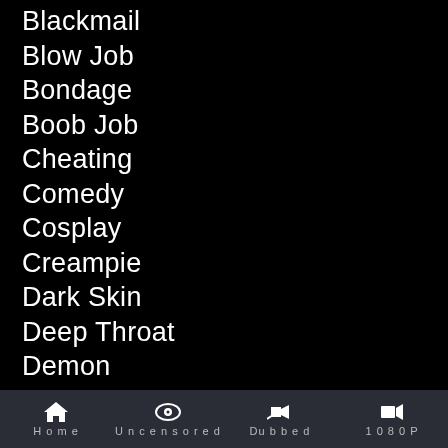Blackmail
Blow Job
Bondage
Boob Job
Cheating
Comedy
Cosplay
Creampie
Dark Skin
Deep Throat
Demon
Doctor
Double Penetration
Dubbed Hentai
Exclusive
Facial
Home   Uncensored   Dubbed   1080P